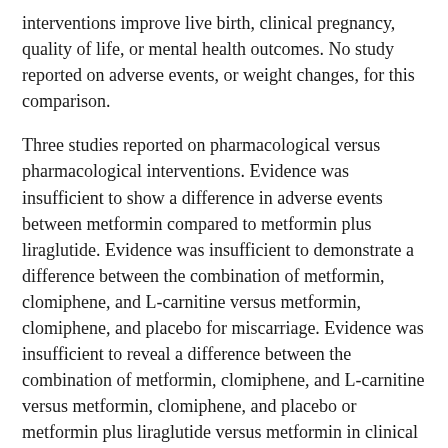interventions improve live birth, clinical pregnancy, quality of life, or mental health outcomes. No study reported on adverse events, or weight changes, for this comparison.
Three studies reported on pharmacological versus pharmacological interventions. Evidence was insufficient to show a difference in adverse events between metformin compared to metformin plus liraglutide. Evidence was insufficient to demonstrate a difference between the combination of metformin, clomiphene, and L-carnitine versus metformin, clomiphene, and placebo for miscarriage. Evidence was insufficient to reveal a difference between the combination of metformin, clomiphene, and L-carnitine versus metformin, clomiphene, and placebo or metformin plus liraglutide versus metformin in clinical pregnancy. Evidence was insufficient to demonstrate a difference between the combination of metformin, clomiphene, and L-carnitine versus metformin, clomiphene, and placebo for weight change using BMI. Moreover, evidence was insufficient to reveal a difference between dexfenfluramine versus placebo or